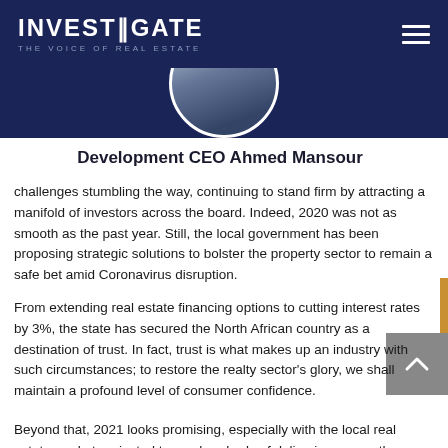INVESTIGATE — THE VOICE OF REAL ESTATE
[Figure (photo): Circular portrait photo of a person, partially visible at top center of page, against dark navy background]
Development CEO Ahmed Mansour
challenges stumbling the way, continuing to stand firm by attracting a manifold of investors across the board. Indeed, 2020 was not as smooth as the past year. Still, the local government has been proposing strategic solutions to bolster the property sector to remain a safe bet amid Coronavirus disruption.
From extending real estate financing options to cutting interest rates by 3%, the state has secured the North African country as a destination of trust. In fact, trust is what makes up an industry with such circumstances; to restore the realty sector's glory, we shall maintain a profound level of consumer confidence.
Beyond that, 2021 looks promising, especially with the local real estate market projected to see hundreds of deliveries across the country throughout the year. This